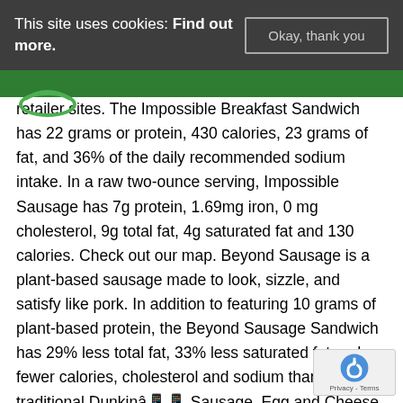This site uses cookies: Find out more. [Okay, thank you button]
retailer sites. The Impossible Breakfast Sandwich has 22 grams or protein, 430 calories, 23 grams of fat, and 36% of the daily recommended sodium intake. In a raw two-ounce serving, Impossible Sausage has 7g protein, 1.69mg iron, 0 mg cholesterol, 9g total fat, 4g saturated fat and 130 calories. Check out our map. Beyond Sausage is a plant-based sausage made to look, sizzle, and satisfy like pork. In addition to featuring 10 grams of plant-based protein, the Beyond Sausage Sandwich has 29% less total fat, 33% less saturated fat and fewer calories, cholesterol and sodium than a traditional Dunkinâ?? Sausage, Egg and Cheese Breakfast Sandwich on an English muffin, helping Dunkinâ?? de the nutritional and environmental benefits of plant-b protein. Comforting, indulgent and good for the planet. Find